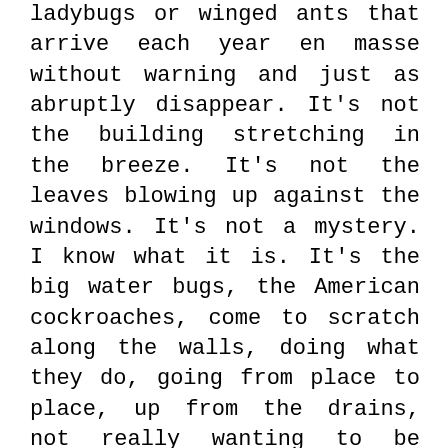ladybugs or winged ants that arrive each year en masse without warning and just as abruptly disappear. It's not the building stretching in the breeze. It's not the leaves blowing up against the windows. It's not a mystery. I know what it is. It's the big water bugs, the American cockroaches, come to scratch along the walls, doing what they do, going from place to place, up from the drains, not really wanting to be here, a bit lost, looking for something.